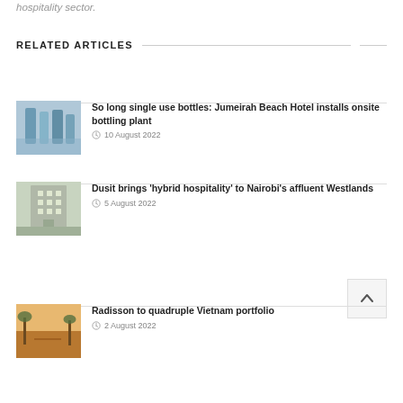hospitality sector.
RELATED ARTICLES
So long single use bottles: Jumeirah Beach Hotel installs onsite bottling plant — 10 August 2022
Dusit brings 'hybrid hospitality' to Nairobi's affluent Westlands — 5 August 2022
Radisson to quadruple Vietnam portfolio — 2 August 2022